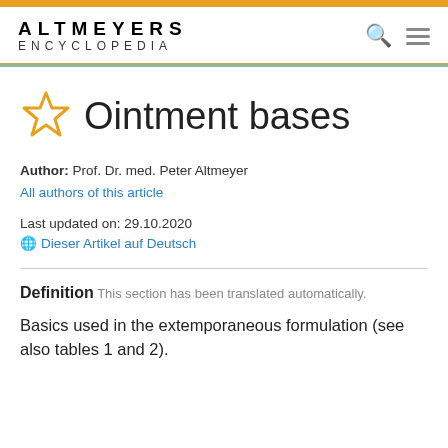ALTMEYERS ENCYCLOPEDIA
Ointment bases
Author: Prof. Dr. med. Peter Altmeyer
All authors of this article
Last updated on: 29.10.2020
Dieser Artikel auf Deutsch
Definition This section has been translated automatically.
Basics used in the extemporaneous formulation (see also tables 1 and 2).